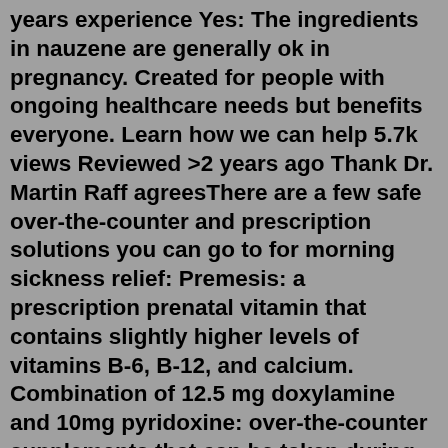years experience Yes: The ingredients in nauzene are generally ok in pregnancy. Created for people with ongoing healthcare needs but benefits everyone. Learn how we can help 5.7k views Reviewed >2 years ago Thank Dr. Martin Raff agreesThere are a few safe over-the-counter and prescription solutions you can go to for morning sickness relief: Premesis: a prescription prenatal vitamin that contains slightly higher levels of vitamins B-6, B-12, and calcium. Combination of 12.5 mg doxylamine and 10mg pyridoxine: over-the-counter supplements that can be taken during pregnancy (doxylamine can be found as Unisom Sleep Tabs and can ...Drink 2 Liters Of Water A Day. How To Avoid Vomiting During Pregnancy. Having a lot of fluids throughout the day, but in small doses, can help relieve nausea and keep the body well hydrated, in addition to reducing fluid retention. It's important to take at least 2 liters of water a day.What you should do about this interaction: Let your healthcare professionals (e.g. doctor or pharmacist)